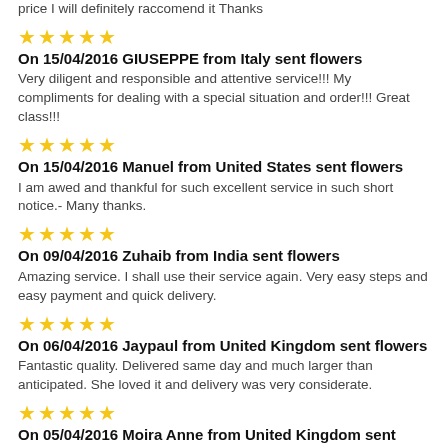price I will definitely raccomend it Thanks
★★★★★ On 15/04/2016 GIUSEPPE from Italy sent flowers – Very diligent and responsible and attentive service!!! My compliments for dealing with a special situation and order!!! Great class!!!
★★★★★ On 15/04/2016 Manuel from United States sent flowers – I am awed and thankful for such excellent service in such short notice.- Many thanks.
★★★★★ On 09/04/2016 Zuhaib from India sent flowers – Amazing service. I shall use their service again. Very easy steps and easy payment and quick delivery.
★★★★★ On 06/04/2016 Jaypaul from United Kingdom sent flowers – Fantastic quality. Delivered same day and much larger than anticipated. She loved it and delivery was very considerate.
★★★★★ On 05/04/2016 Moira Anne from United Kingdom sent flowers – Thank you for sending flowers for me. Delivery was when I requested and I have seen a photo of the basket and it was beautiful. Thank u so much. Gracie Mille x
★★★★★ On 05/04/2016 Sharina from Singapore sent flowers – great customer service prior to placing an order and super prompt